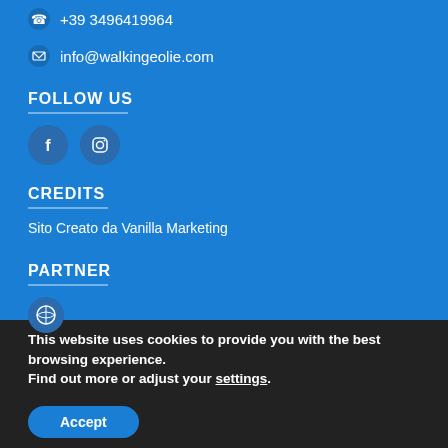+39 3496419964
info@walkingeolie.com
FOLLOW US
[Figure (illustration): Facebook and Instagram social media icons as dark blue circles with white logos]
CREDITS
Sito Creato da Vanilla Marketing
PARTNER
[Figure (illustration): Partially visible partner icon circle at bottom of blue section]
This website uses cookies to provide you with the best browsing experience.
Find out more or adjust your settings.
Accept